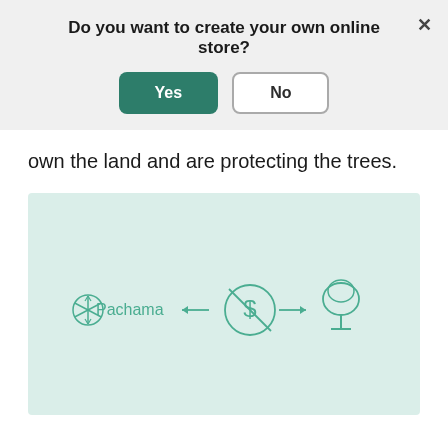Do you want to create your own online store?
[Figure (screenshot): Dialog modal with Yes (green button) and No (outlined button) options, and a close X button in the top right corner]
own the land and are protecting the trees.
[Figure (infographic): Light teal background infographic showing Pachama logo with snowflake icon, a left arrow, a dollar sign inside a circle with a diagonal slash, a right arrow, and a tree icon — representing a fund flow diagram]